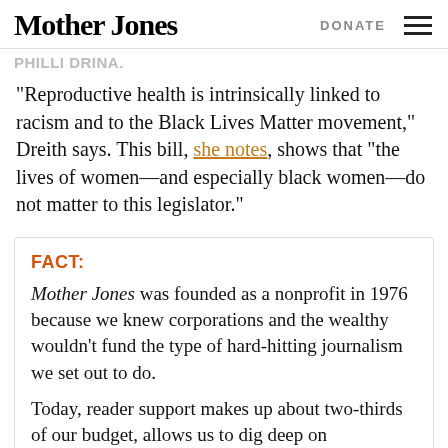Mother Jones | DONATE
PHILLI DRINA.
“Reproductive health is intrinsically linked to racism and to the Black Lives Matter movement,” Dreith says. This bill, she notes, shows that “the lives of women—and especially black women—do not matter to this legislator.”
FACT:
Mother Jones was founded as a nonprofit in 1976 because we knew corporations and the wealthy wouldn’t fund the type of hard-hitting journalism we set out to do.
Today, reader support makes up about two-thirds of our budget, allows us to dig deep on